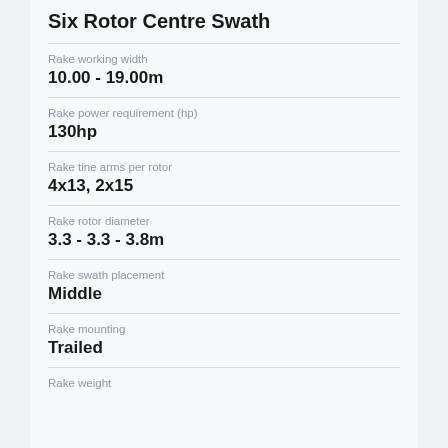Six Rotor Centre Swath
Rake working width
10.00 - 19.00m
Rake power requirement (hp)
130hp
Rake tine arms per rotor
4x13, 2x15
Rake rotor diameter
3.3 - 3.3 - 3.8m
Rake swath placement
Middle
Rake mounting
Trailed
Rake weight